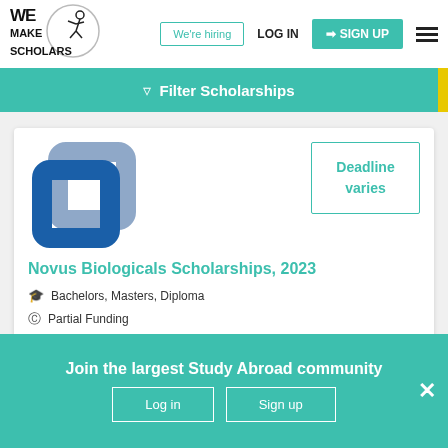[Figure (logo): We Make Scholars logo with acrobat figure in a circle]
We're hiring | LOG IN | SIGN UP
Filter Scholarships
[Figure (logo): Novus Biologicals logo — overlapping blue squares]
Deadline varies
Novus Biologicals Scholarships, 2023
Bachelors, Masters, Diploma
Partial Funding
Join the largest Study Abroad community
Log in   Sign up